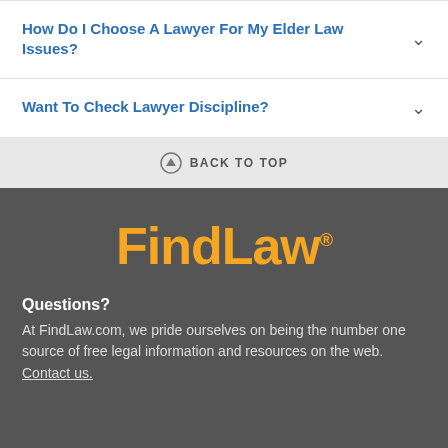How Do I Choose A Lawyer For My Elder Law Issues?
Want To Check Lawyer Discipline?
BACK TO TOP
[Figure (logo): FindLaw logo in orange with registered trademark symbol]
Questions?
At FindLaw.com, we pride ourselves on being the number one source of free legal information and resources on the web. Contact us.